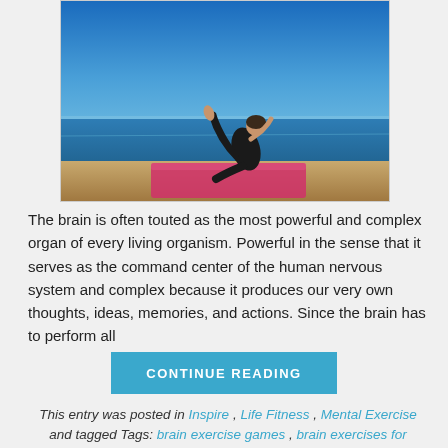[Figure (photo): A woman performing a yoga pose on a colorful mat on a cliff overlooking the ocean under a clear blue sky.]
The brain is often touted as the most powerful and complex organ of every living organism. Powerful in the sense that it serves as the command center of the human nervous system and complex because it produces our very own thoughts, ideas, memories, and actions. Since the brain has to perform all
CONTINUE READING
This entry was posted in Inspire , Life Fitness , Mental Exercise and tagged Tags: brain exercise games , brain exercises for seniors , brain fun , exercises to improve